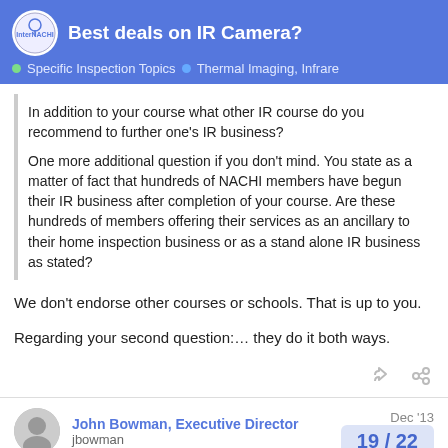Best deals on IR Camera? — Specific Inspection Topics · Thermal Imaging, Infrare
In addition to your course what other IR course do you recommend to further one's IR business?

One more additional question if you don't mind. You state as a matter of fact that hundreds of NACHI members have begun their IR business after completion of your course. Are these hundreds of members offering their services as an ancillary to their home inspection business or as a stand alone IR business as stated?
We don't endorse other courses or schools. That is up to you.
Regarding your second question:… they do it both ways.
John Bowman, Executive Director
jbowman
Dec '13
19 / 22